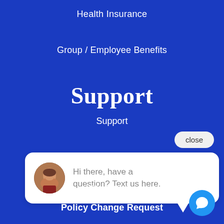Health Insurance
Group / Employee Benefits
Support
Support
close
[Figure (screenshot): Chat bubble popup with female avatar photo and message: Hi there, have a question? Text us here.]
File A Claim
Policy Change Request
[Figure (illustration): Blue circular chat icon button in bottom right corner]